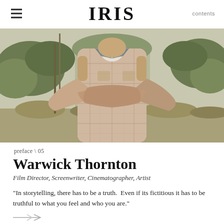IRIS   contents
[Figure (photo): Person with arms crossed wearing a plaid short-sleeve shirt, photographed outdoors with green foliage in background]
preface \ 05
Warwick Thornton
Film Director, Screenwriter, Cinematographer, Artist
"In storytelling, there has to be a truth.  Even if its fictitious it has to be truthful to what you feel and who you are."